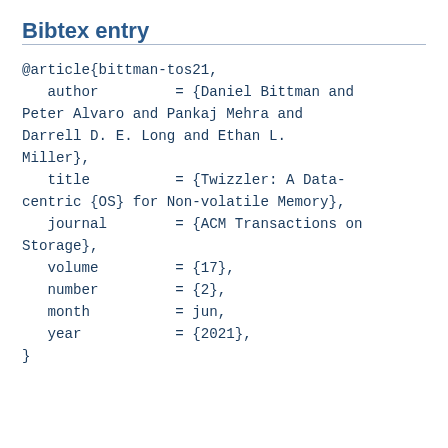Bibtex entry
@article{bittman-tos21,
   author         = {Daniel Bittman and Peter Alvaro and Pankaj Mehra and Darrell D. E. Long and Ethan L. Miller},
   title          = {Twizzler: A Data-centric {OS} for Non-volatile Memory},
   journal        = {ACM Transactions on Storage},
   volume         = {17},
   number         = {2},
   month          = jun,
   year           = {2021},
}